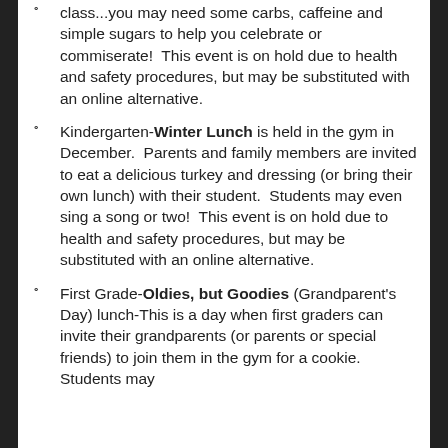class...you may need some carbs, caffeine and simple sugars to help you celebrate or commiserate!  This event is on hold due to health and safety procedures, but may be substituted with an online alternative.
Kindergarten-Winter Lunch is held in the gym in December.  Parents and family members are invited to eat a delicious turkey and dressing (or bring their own lunch) with their student.  Students may even sing a song or two!  This event is on hold due to health and safety procedures, but may be substituted with an online alternative.
First Grade-Oldies, but Goodies (Grandparent's Day) lunch-This is a day when first graders can invite their grandparents (or parents or special friends) to join them in the gym for a cookie.  Students may [text cut off]